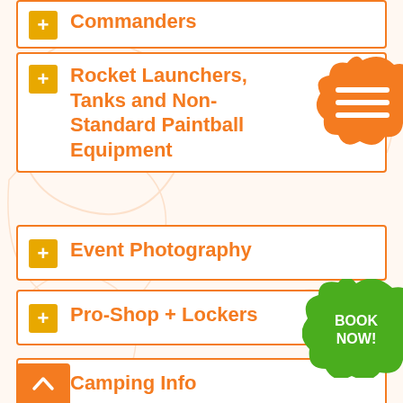Commanders
Rocket Launchers, Tanks and Non-Standard Paintball Equipment
Event Photography
Pro-Shop + Lockers
Camping Info
[Figure (infographic): Orange paint splat with three horizontal white lines (hamburger menu icon)]
[Figure (infographic): Green paint splat with bold white text BOOK NOW!]